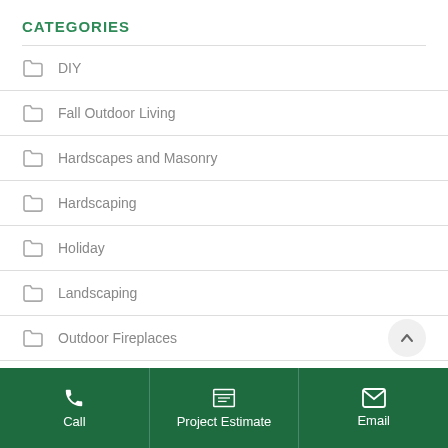CATEGORIES
DIY
Fall Outdoor Living
Hardscapes and Masonry
Hardscaping
Holiday
Landscaping
Outdoor Fireplaces
Outdoor Ideas
Call   Project Estimate   Email